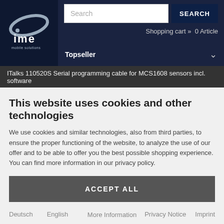[Figure (logo): IME mobile solutions logo — white oval swoosh graphic with 'ime mobile solutions' text on dark navy background]
Search
SEARCH
Shopping cart » 0 Article
Topseller
ITalks 110520S Serial programming cable for MCS1608 sensors incl. software
This website uses cookies and other technologies
We use cookies and similar technologies, also from third parties, to ensure the proper functioning of the website, to analyze the use of our offer and to be able to offer you the best possible shopping experience. You can find more information in our privacy policy.
ACCEPT ALL
More Information
Deutsch   English   Privacy Notice   Imprint